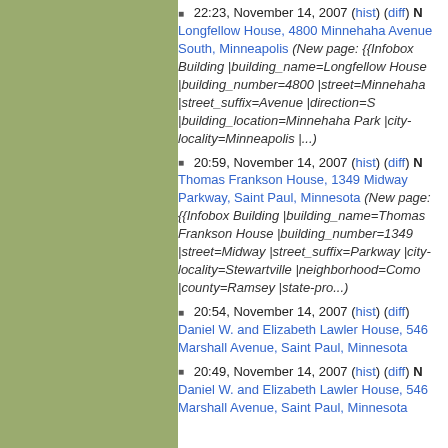22:23, November 14, 2007 (hist) (diff) N Longfellow House, 4800 Minnehaha Avenue South, Minneapolis (New page: {{Infobox Building |building_name=Longfellow House |building_number=4800 |street=Minnehaha |street_suffix=Avenue |direction=S |building_location=Minnehaha Park |city-locality=Minneapolis |...)
20:59, November 14, 2007 (hist) (diff) N Thomas Frankson House, 1349 Midway Parkway, Saint Paul, Minnesota (New page: {{Infobox Building |building_name=Thomas Frankson House |building_number=1349 |street=Midway |street_suffix=Parkway |city-locality=Stewartville |neighborhood=Como |county=Ramsey |state-pro...)
20:54, November 14, 2007 (hist) (diff) Daniel W. and Elizabeth Lawler House, 546 Marshall Avenue, Saint Paul, Minnesota
20:49, November 14, 2007 (hist) (diff) N Daniel W. and Elizabeth Lawler House, 546 Marshall Avenue, Saint Paul, Minnesota